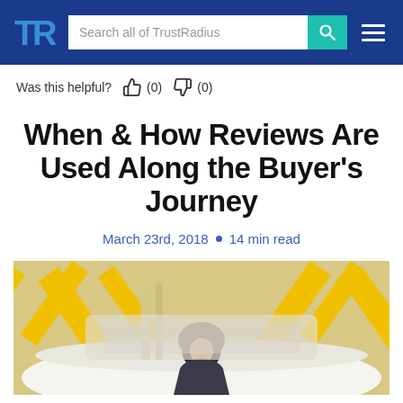TrustRadius — Search all of TrustRadius
Was this helpful? (0) (0)
When & How Reviews Are Used Along the Buyer's Journey
March 23rd, 2018 • 14 min read
[Figure (photo): A woman with curly hair sitting at a futuristic reception desk with yellow X-shaped structural elements and white curved surfaces in the background.]